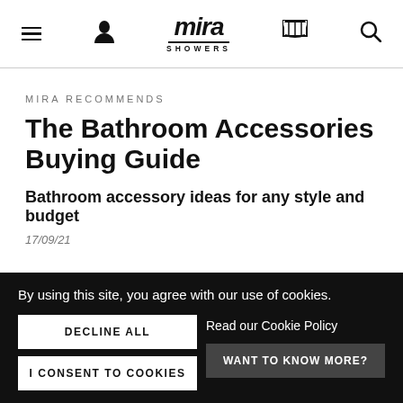Mira Showers navigation header with hamburger menu, user icon, Mira Showers logo, cart icon, and search icon
MIRA RECOMMENDS
The Bathroom Accessories Buying Guide
Bathroom accessory ideas for any style and budget
17/09/21
By using this site, you agree with our use of cookies.
DECLINE ALL
Read our Cookie Policy
I CONSENT TO COOKIES
WANT TO KNOW MORE?